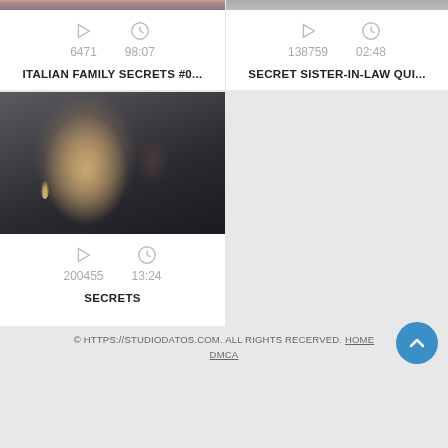[Figure (screenshot): Video card top strip - partial thumbnail top of left card]
[Figure (screenshot): Video card top strip - partial thumbnail top of right card]
6471   98:07
ITALIAN FAMILY SECRETS #0...
138759   02:48
SECRET SISTER-IN-LAW QUI...
[Figure (photo): Two women in dark setting with candles and wine glass]
200455   13:24
SECRETS
© HTTPS://STUDIODATOS.COM. ALL RIGHTS RECERVED. HOME DMCA